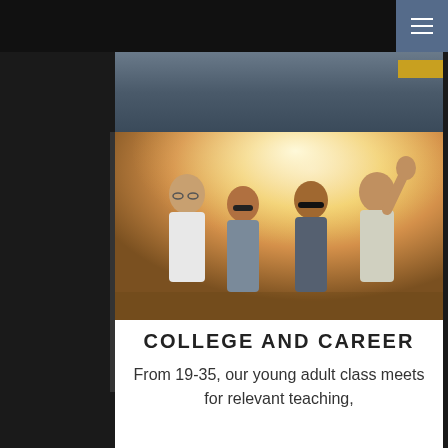[Figure (photo): Four young adults socializing outdoors in warm backlit sunlight, laughing and gesturing]
COLLEGE AND CAREER
From 19-35, our young adult class meets for relevant teaching,